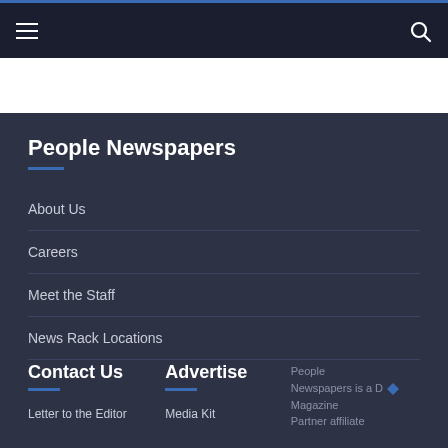☰  🔍
People Newspapers
About Us
Careers
Meet the Staff
News Rack Locations
Report A Problem
Contact Us
Advertise
Letter to the Editor
Media Kit
People Newspapers is a D Magazine Partner affiliate